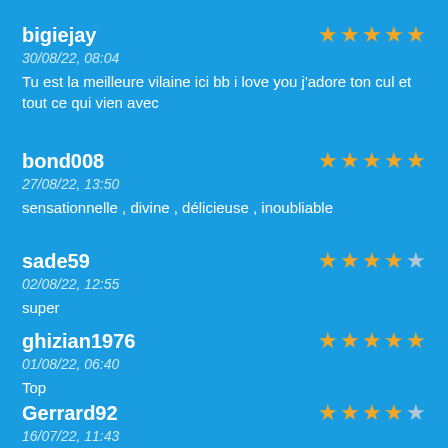bigiejay
30/08/22, 08:04
Tu est la meilleure vilaine ici bb i love you j'adore ton cul et tout ce qui vien avec
Rating: 5/5
bond008
27/08/22, 13:50
sensationnelle , divine , délicieuse , inoubliable
Rating: 5/5
sade59
02/08/22, 12:55
super
Rating: 4/5
ghizian1976
01/08/22, 06:40
Top
Rating: 5/5
Gerrard92
16/07/22, 11:43
Rating: 4/5